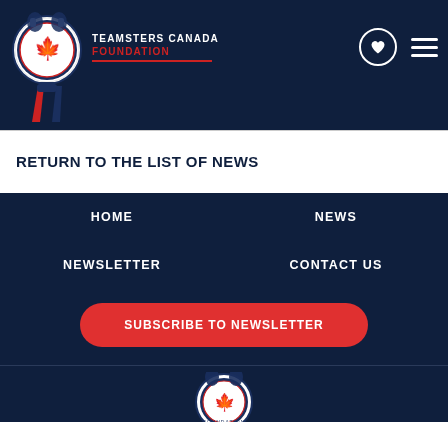[Figure (logo): Teamsters Canada Foundation logo with horses and maple leaf badge with red/blue ribbon, and text TEAMSTERS CANADA FOUNDATION]
RETURN TO THE LIST OF NEWS
HOME
NEWS
NEWSLETTER
CONTACT US
SUBSCRIBE TO NEWSLETTER
[Figure (logo): Teamsters Canada Foundation footer logo (partial, bottom of page)]